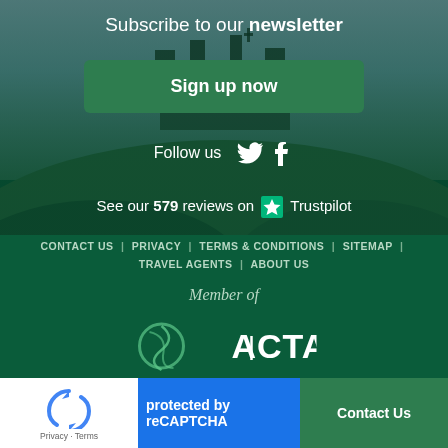[Figure (photo): Background photo of a hilltop castle or ruin with green grass and twilight sky, with dark green teal overlay]
Subscribe to our newsletter
Sign up now
Follow us
See our 579 reviews on ★ Trustpilot
CONTACT US | PRIVACY | TERMS & CONDITIONS | SITEMAP |
TRAVEL AGENTS | ABOUT US
Member of
protected by reCAPTCHA
Contact Us